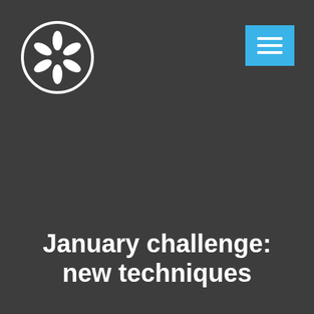[Figure (logo): White flower/asterisk icon inside a white circle outline on dark grey background]
[Figure (other): Light blue square button with three white horizontal lines (hamburger menu icon)]
January challenge: new techniques